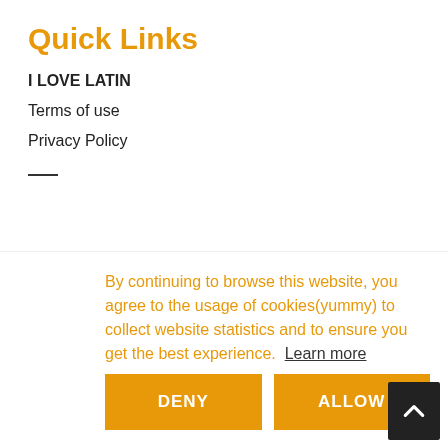Quick Links
I LOVE LATIN
Terms of use
Privacy Policy
By continuing to browse this website, you agree to the usage of cookies(yummy) to collect website statistics and to ensure you get the best experience. Learn more
DENY | ALLOW